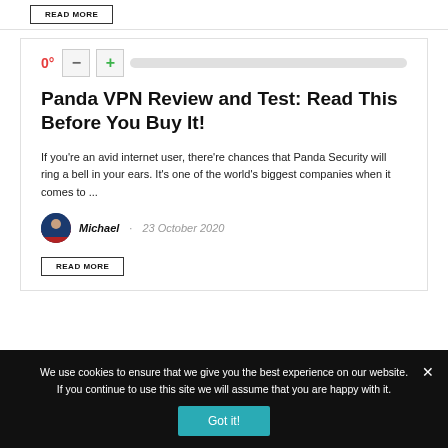READ MORE
Panda VPN Review and Test: Read This Before You Buy It!
If you're an avid internet user, there're chances that Panda Security will ring a bell in your ears. It's one of the world's biggest companies when it comes to ...
Michael · 23 October 2020
READ MORE
We use cookies to ensure that we give you the best experience on our website. If you continue to use this site we will assume that you are happy with it.